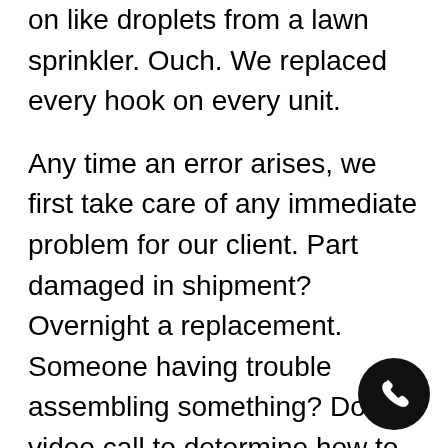on like droplets from a lawn sprinkler. Ouch. We replaced every hook on every unit.
Any time an error arises, we first take care of any immediate problem for our client. Part damaged in shipment? Overnight a replacement. Someone having trouble assembling something? Do a video call to determine how to get the installer out of their jam. Only then do we dig into the issue to find what went aw... We don't waste energy or time seeking